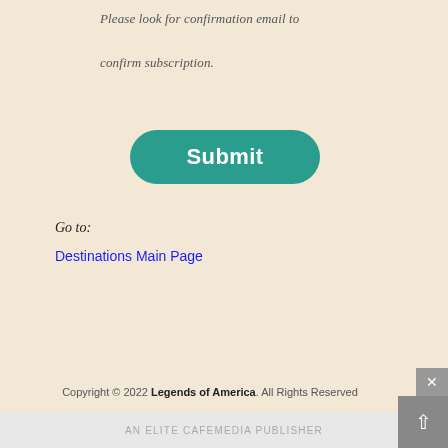Please look for confirmation email to confirm subscription.
Submit
Go to:
Destinations Main Page
[Figure (other): Route 66 Posters advertisement banner showing 'ROUTE 66 POSTERS Just $7.99' with five poster thumbnails including Ride the Road Route 66 poster, vintage gas station poster, Missouri Route 66 collage, yellow Route 66 poster, and a blue/white poster.]
Copyright © 2022 Legends of America. All Rights Reserved
AN ELITE CAFEMEDIA PUBLISHER